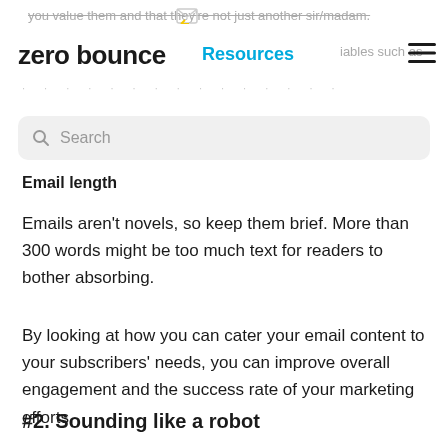you value them and that they're not just another sir/madam. zero bounce Resources iables such as
Search
Email length
Emails aren't novels, so keep them brief. More than 300 words might be too much text for readers to bother absorbing.
By looking at how you can cater your email content to your subscribers' needs, you can improve overall engagement and the success rate of your marketing efforts.
#2. Sounding like a robot